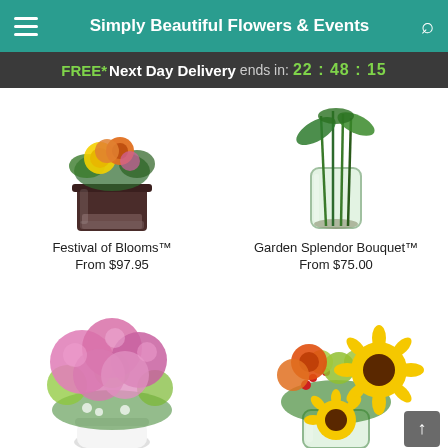Simply Beautiful Flowers & Events
FREE* Next Day Delivery ends in: 22:48:15
[Figure (photo): Festival of Blooms floral arrangement in a dark square vase with orange roses, yellow chrysanthemums, and greenery]
Festival of Blooms™
From $97.95
[Figure (photo): Garden Splendor Bouquet in a clear glass cylinder vase with tall green stems and foliage]
Garden Splendor Bouquet™
From $75.00
[Figure (photo): Large pink hydrangea and peony bouquet arrangement in a white vase with green hydrangeas and ferns]
[Figure (photo): Bright summer bouquet with sunflowers, orange roses, green cymbidium orchids, and red berries in a glass vase]